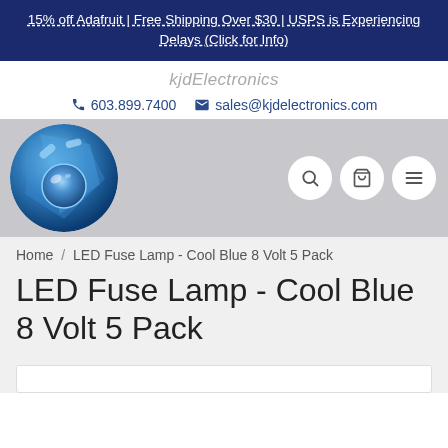15% off Adafruit | Free Shipping Over $30 | USPS is Experiencing Delays (Click for Info)
kjdElectronics
603.899.7400   sales@kjdelectronics.com
[Figure (logo): kjdElectronics circular blue logo with stylized letters]
Home / LED Fuse Lamp - Cool Blue 8 Volt 5 Pack
LED Fuse Lamp - Cool Blue 8 Volt 5 Pack